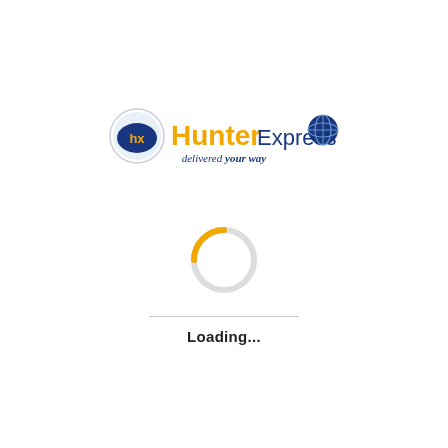[Figure (logo): Hunter Express logo with orange 'Hunter', blue 'Express' text, hx badge on left, globe icon on right, and 'delivered your way' tagline in blue italic below]
[Figure (other): Orange and light gray circular loading spinner (arc spinner), mostly gray circle with orange arc segment at top-left]
Loading...